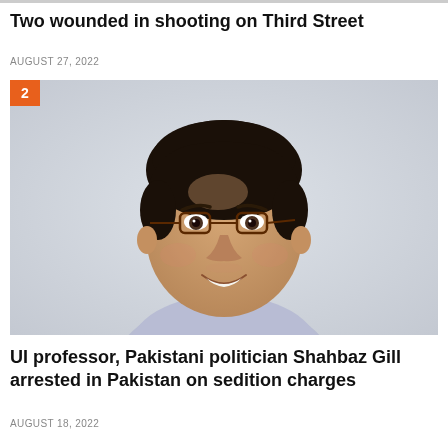Two wounded in shooting on Third Street
AUGUST 27, 2022
[Figure (photo): Headshot of a smiling middle-aged South Asian man with dark hair and brown-framed glasses, wearing a light-colored shirt, against a blurred light background. A numbered badge '2' appears in the top-left corner of the image.]
UI professor, Pakistani politician Shahbaz Gill arrested in Pakistan on sedition charges
AUGUST 18, 2022